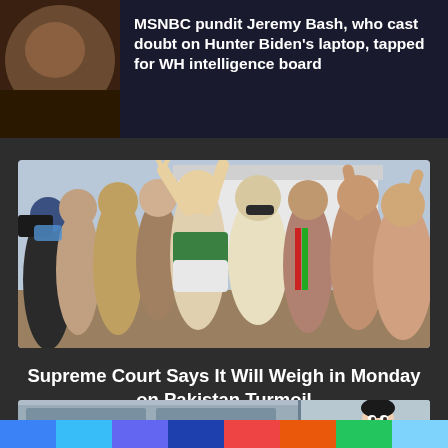[Figure (photo): Top article: dark photo (possibly a person/object in shadow) on the left, with a dark navy background containing a bold white headline on the right.]
MSNBC pundit Jeremy Bash, who cast doubt on Hunter Biden's laptop, tapped for WH intelligence board
[Figure (photo): Crowd of people protesting outdoors, raising hands, some making victory signs, in front of a white building. A woman in sunglasses and white outfit is prominent in the center.]
Supreme Court Says It Will Weigh in Monday on Pakistan Turmoil
[Figure (illustration): Partial view of an illustrated/cartoon scene showing a bed or furniture on the left and a cartoon woman's face on the right.]